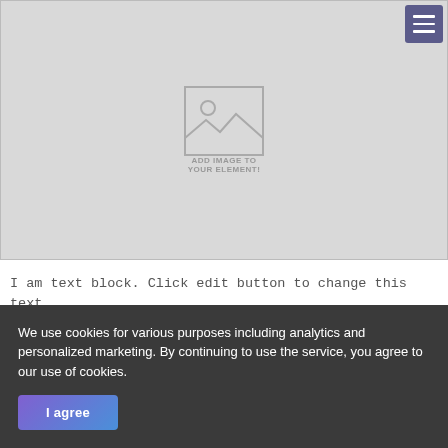[Figure (other): Gray image placeholder box with a landscape/photo icon in the center and the text 'ADD IMAGE TO YOUR ELEMENT!' below the icon. A hamburger menu button (three horizontal lines on a purple-gray background) is positioned in the top-right corner.]
I am text block. Click edit button to change this text. Lorem ipsum dolor sit amet, consectetur adipiscing
We use cookies for various purposes including analytics and personalized marketing. By continuing to use the service, you agree to our use of cookies.
I agree